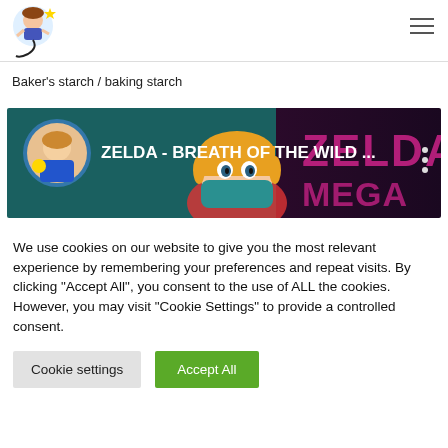[Figure (logo): Colorful cartoon character logo in top left corner]
[Figure (other): Hamburger menu icon (three horizontal lines) in top right corner]
Baker's starch / baking starch
[Figure (screenshot): Video thumbnail showing 'ZELDA - BREATH OF THE WILD ...' with anime-style character and Zelda logo on dark teal and pink background]
We use cookies on our website to give you the most relevant experience by remembering your preferences and repeat visits. By clicking "Accept All", you consent to the use of ALL the cookies. However, you may visit "Cookie Settings" to provide a controlled consent.
Cookie settings
Accept All